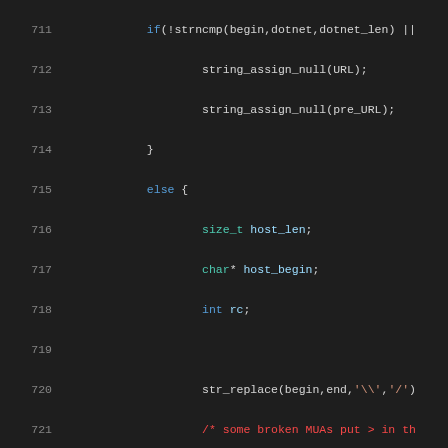[Figure (screenshot): Source code listing lines 711-731 in a dark-themed code editor. Code shows C functions including strncmp, string_assign_null, str_replace, str_strip, strchr, with syntax highlighting. Line numbers shown in grey on left.]